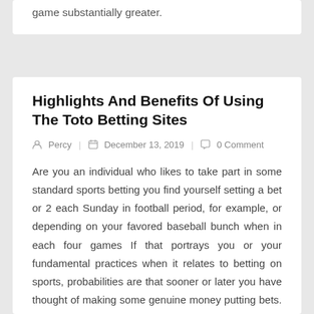game substantially greater.
Highlights And Benefits Of Using The Toto Betting Sites
Percy | December 13, 2019 | 0 Comment
Are you an individual who likes to take part in some standard sports betting you find yourself setting a bet or 2 each Sunday in football period, for example, or depending on your favored baseball bunch when in each four games If that portrays you or your fundamental practices when it relates to betting on sports, probabilities are that sooner or later you have thought of making some genuine money putting bets. The issue with betting on wearing exercises is that similarly as with a kind of betting, it requires a particular